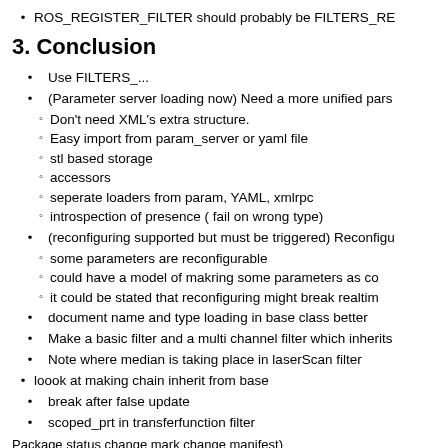ROS_REGISTER_FILTER should probably be FILTERS_RE...
3. Conclusion
Use FILTERS_...
(Parameter server loading now) Need a more unified pars...
Don't need XML's extra structure.
Easy import from param_server or yaml file
stl based storage
accessors
seperate loaders from param, YAML, xmlrpc
introspection of presence ( fail on wrong type)
(reconfiguring supported but must be triggered) Reconfigu...
some parameters are reconfigurable
could have a model of makring some parameters as co...
it could be stated that reconfiguring might break realtim...
document name and type loading in base class better
Make a basic filter and a multi channel filter which inherits...
Note where median is taking place in laserScan filter
loook at making chain inherit from base
break after false update
scoped_prt in transferfunction filter
Package status change mark change manifest)